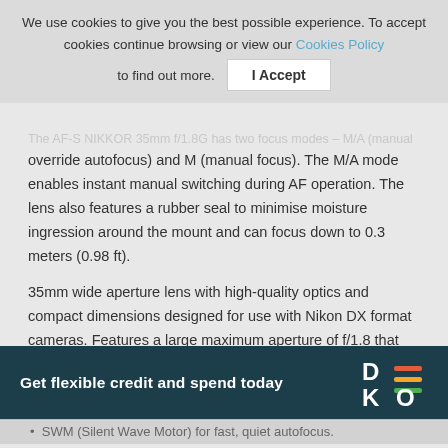We use cookies to give you the best possible experience. To accept cookies continue browsing or view our Cookies Policy to find out more. | I Accept
The AF-S NIKKOR 35mm f/1.8G has two focus modes – M/A (manual override autofocus) and M (manual focus). The M/A mode enables instant manual switching during AF operation. The lens also features a rubber seal to minimise moisture ingression around the mount and can focus down to 0.3 meters (0.98 ft).
35mm wide aperture lens with high-quality optics and compact dimensions designed for use with Nikon DX format cameras. Features a large maximum aperture of f/1.8 that offers a bright viewfinder image and is ideal for low light shooting situations. Delivers high resolution and contrast with quiet autofocus operation.
Key Features
[Figure (infographic): DEKO promotional banner: dark teal background with text 'Get flexible credit and spend today' and DEKO logo on the right with colored lines]
SWM (Silent Wave Motor) for fast, quiet autofocus.